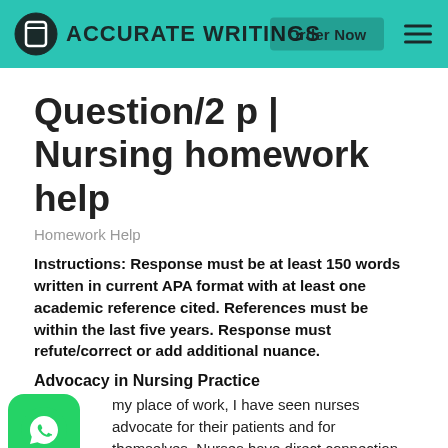Accurate Writings — Order Now
Question/2 p | Nursing homework help
Homework Help
Instructions: Response must be at least 150 words written in current APA format with at least one academic reference cited. References must be within the last five years. Response must refute/correct or add additional nuance.
Advocacy in Nursing Practice
my place of work, I have seen nurses advocate for their patients and for themselves. Nurses have direct connection to